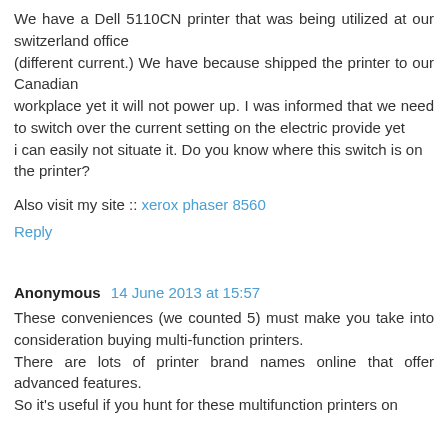We have a Dell 5110CN printer that was being utilized at our switzerland office (different current.) We have because shipped the printer to our Canadian workplace yet it will not power up. I was informed that we need to switch over the current setting on the electric provide yet i can easily not situate it. Do you know where this switch is on the printer?
Also visit my site :: xerox phaser 8560
Reply
Anonymous  14 June 2013 at 15:57
These conveniences (we counted 5) must make you take into consideration buying multi-function printers. There are lots of printer brand names online that offer advanced features. So it's useful if you hunt for these multifunction printers on